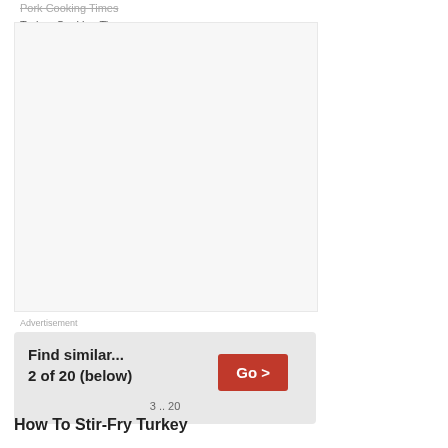Pork Cooking Times
Turkey Cooking Times
Advertisement
Find similar...
2 of 20 (below)
Go >
3 .. 20
How To Stir-Fry Turkey